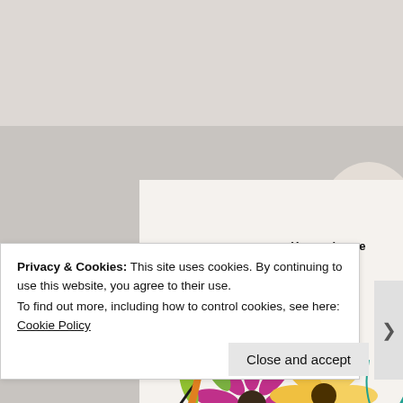[Figure (photo): A handmade greeting card with colorful illustrated flowers (pink, peach, yellow, magenta, teal) and the text 'You make me' stamped near the top, shown against a blurred background of real flowers.]
Privacy & Cookies: This site uses cookies. By continuing to use this website, you agree to their use.
To find out more, including how to control cookies, see here: Cookie Policy
Close and accept